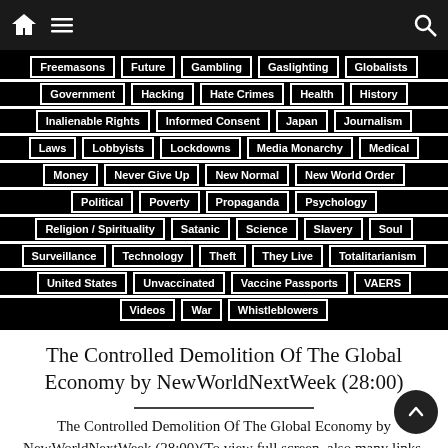Navigation header with home, menu, and search icons
Freemasons | Future | Gambling | Gaslighting | Globalists
Government | Hacking | Hate Crimes | Health | History
Inalienable Rights | Informed Consent | Japan | Journalism
Laws | Lobbyists | Lockdowns | Media Monarchy | Medical
Money | Never Give Up | New Normal | New World Order
Political | Poverty | Propaganda | Psychology
Religion / Spirituality | Satanic | Science | Slavery | Soul
Surveillance | Technology | Theft | They Live | Totalitarianism
United States | Unvaccinated | Vaccine Passports | VAERS
Videos | War | Whistleblowers
The Controlled Demolition Of The Global Economy by NewWorldNextWeek (28:00)
The Controlled Demolition Of The Global Economy by NewWorldNextWeek (28:00)(To view full screen, also many links, click the link